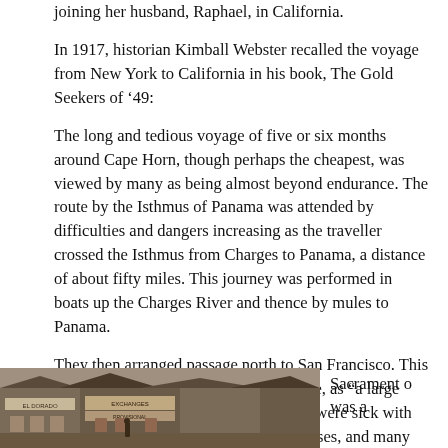joining her husband, Raphael, in California.
In 1917, historian Kimball Webster recalled the voyage from New York to California in his book, The Gold Seekers of '49:
The long and tedious voyage of five or six months around Cape Horn, though perhaps the cheapest, was viewed by many as being almost beyond endurance. The route by the Isthmus of Panama was attended by difficulties and dangers increasing as the traveller crossed the Isthmus from Charges to Panama, a distance of about fifty miles. This journey was performed in boats up the Charges River and thence by mules to Panama.
They then arranged passage north to San Francisco. This trip was not for the weak, Webster wrote, as “a large percentage of those waiting passengers were sick with the Panama fever or other tropical diseases, and many died.” The brothers resumed their sea voyage on the steamer, “Tennessee” landing at San Francisco in the spring of 1851. They travelled to Sacramento near Sutter’s Mill and opened mercantile stores.
[Figure (photo): A sepia-toned historical photograph showing building storefronts, partially visible signage including 'El Dorado' and 'Exchanges'.]
Sacramento was a